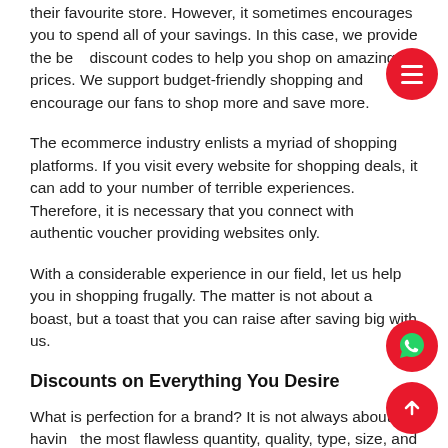their favourite store. However, it sometimes encourages you to spend all of your savings. In this case, we provide the best discount codes to help you shop on amazing prices. We support budget-friendly shopping and encourage our fans to shop more and save more.
The ecommerce industry enlists a myriad of shopping platforms. If you visit every website for shopping deals, it can add to your number of terrible experiences. Therefore, it is necessary that you connect with authentic voucher providing websites only.
With a considerable experience in our field, let us help you in shopping frugally. The matter is not about a boast, but a toast that you can raise after saving big with us.
Discounts on Everything You Desire
What is perfection for a brand? It is not always about having the most flawless quantity, quality, type, size, and worth. Sometimes, it is just the matter of satisfying your customers who are ready to shop no matter what. This store knows how to attract new customers. It is popular for the attractive